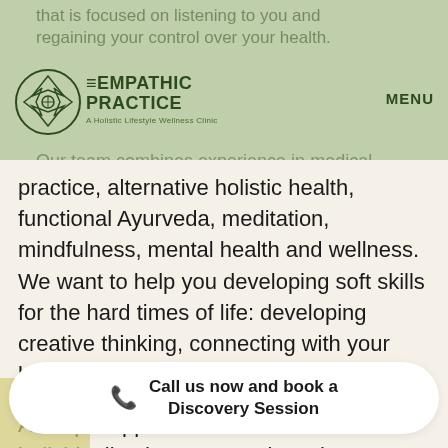EMPATHIC PRACTICE — A Holistic Lifestyle Wellness Clinic — MENU
practice, alternative holistic health, functional Ayurveda, meditation, mindfulness, mental health and wellness. We want to help you developing soft skills for the hard times of life: developing creative thinking, connecting with your body, mind and soul.
A unique approach focuses on individualized treatment plans that can help you live in optimal health and well-being.
Call us now and book a Discovery Session